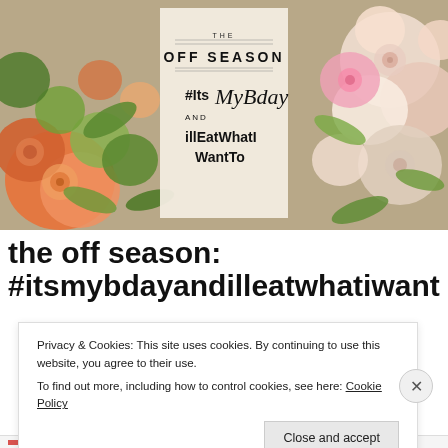[Figure (photo): A photograph showing colorful paper rolled flowers/roses arranged as a wreath with green leaves, on a neutral background. Colors include orange, cream, pink, and green. Center shows a card reading 'THE OFF SEASON #ItsMy Bday AND illEatWhatIWantTo'.]
the off season: #itsmybdayandilleatwhatiwantt
Privacy & Cookies: This site uses cookies. By continuing to use this website, you agree to their use.
To find out more, including how to control cookies, see here: Cookie Policy